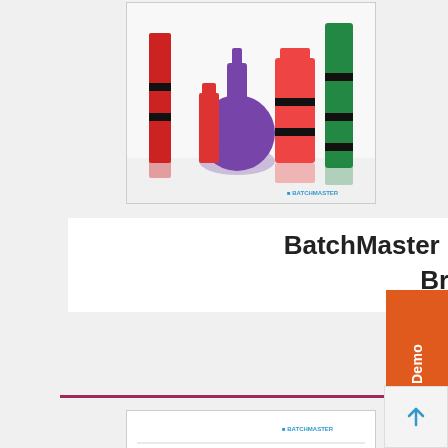[Figure (photo): Chemical laboratory flasks and glassware — red, purple, and green bottles on a reflective surface, with a small BatchMaster logo at bottom right]
BatchMaster Chemical Industry Brochure
[Figure (photo): Preview thumbnail of BatchMaster Chemical brochure cover showing 'BATCHMASTER CHEMICAL' heading in red/orange text, with images of chemical containers and industrial scenes]
Request a Demo